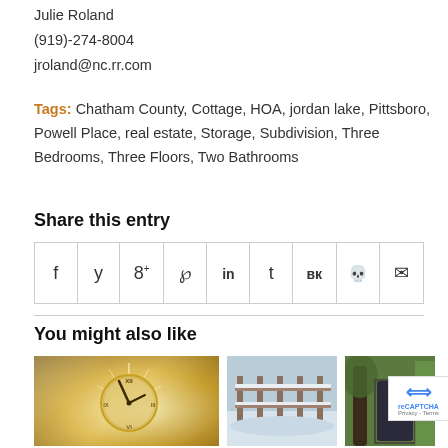Julie Roland
(919)-274-8004
jroland@nc.rr.com
Tags: Chatham County, Cottage, HOA, jordan lake, Pittsboro, Powell Place, real estate, Storage, Subdivision, Three Bedrooms, Three Floors, Two Bathrooms
Share this entry
| f | y | 8+ | p | in | t | vk | reddit | mail |
You might also like
[Figure (photo): Three small thumbnail photos: a glowing clock with fireworks/sparkles (New Year), a snowy deck/railing, and a door between trees.]